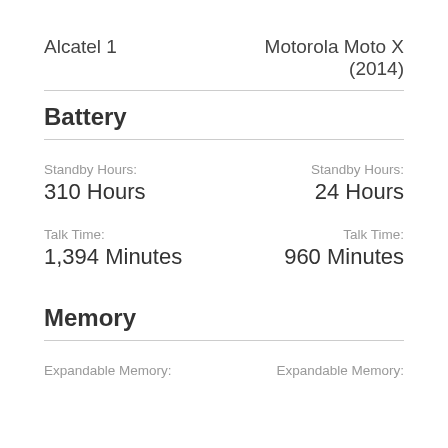Alcatel 1
Motorola Moto X (2014)
Battery
Standby Hours: 310 Hours
Standby Hours: 24 Hours
Talk Time: 1,394 Minutes
Talk Time: 960 Minutes
Memory
Expandable Memory:
Expandable Memory: